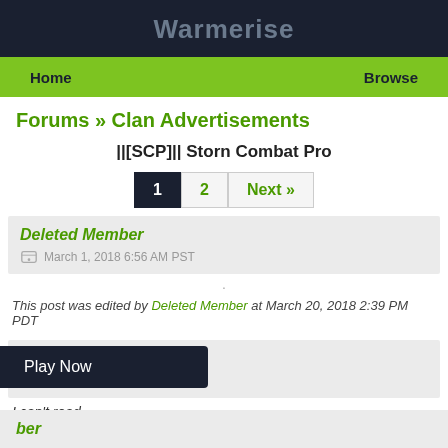Warmerise
Home   Browse
Forums » Clan Advertisements
||[SCP]|| Storn Combat Pro
1  2  Next »
Deleted Member
March 1, 2018 6:56 AM PST
.
This post was edited by Deleted Member at March 20, 2018 2:39 PM PDT
Nine  4 posts
March 1, 2018 9:46 AM PST
I can't read
Play Now
ber